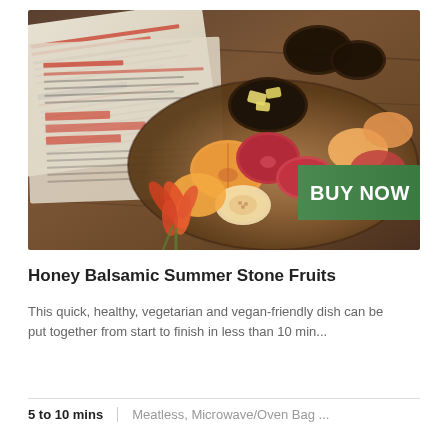[Figure (photo): A wooden board with sliced stone fruits (peaches, plums, figs) and cheese, alongside newspapers/documents, orange flowers, and dark cups. A green 'BUY NOW' button overlay appears on the right side of the image.]
Honey Balsamic Summer Stone Fruits
This quick, healthy, vegetarian and vegan-friendly dish can be put together from start to finish in less than 10 min...
5 to 10 mins	Meatless, Microwave/Oven Bag ...